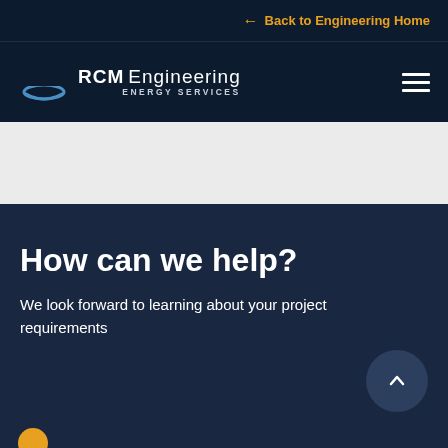← Back to Engineering Home
[Figure (logo): RCM Engineering Energy Services logo with blue arc icon on dark navy background, with hamburger menu icon on the right]
How can we help?
We look forward to learning about your project requirements